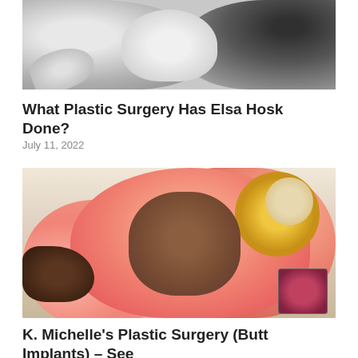[Figure (photo): Black and white photo of a woman with long blonde hair, partially cropped at top]
What Plastic Surgery Has Elsa Hosk Done?
July 11, 2022
[Figure (photo): Color photo of a woman with long pink/salmon colored hair, wearing no visible clothing, with a gold sunburst mirror visible in the background upper right, and a smaller photo visible in lower right corner]
K. Michelle's Plastic Surgery (Butt Implants) – See